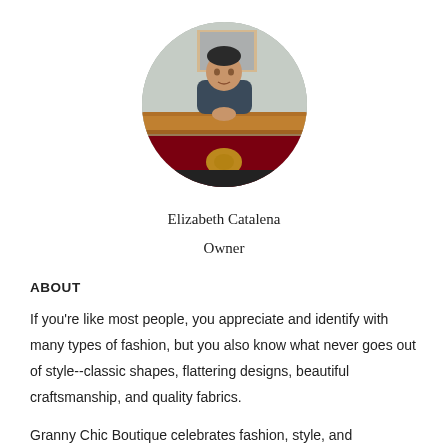[Figure (photo): Circular profile photo of Elizabeth Catalena, a person leaning on a decorative wooden counter or furniture piece with red fabric, in an indoor setting.]
Elizabeth Catalena
Owner
ABOUT
If you're like most people, you appreciate and identify with many types of fashion, but you also know what never goes out of style--classic shapes, flattering designs, beautiful craftsmanship, and quality fabrics.
Granny Chic Boutique celebrates fashion, style, and craftsmanship from a variety of eras and genres. Looking for